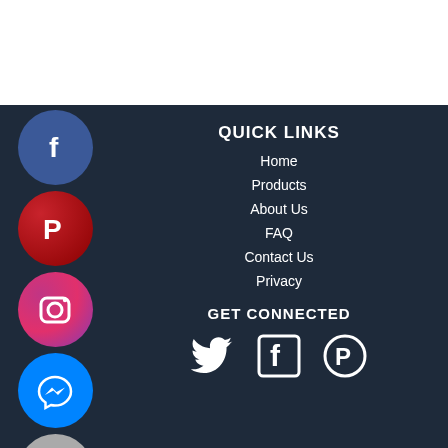[Figure (illustration): White space area at top of page]
[Figure (illustration): Social media sidebar icons: Facebook (blue circle), Pinterest (red circle), Instagram (pink circle), Messenger (blue circle), Print (grey circle)]
QUICK LINKS
Home
Products
About Us
FAQ
Contact Us
Privacy
GET CONNECTED
[Figure (illustration): Social media icons for GET CONNECTED: Twitter bird icon, Facebook square icon, Pinterest circle icon — all white on dark background]